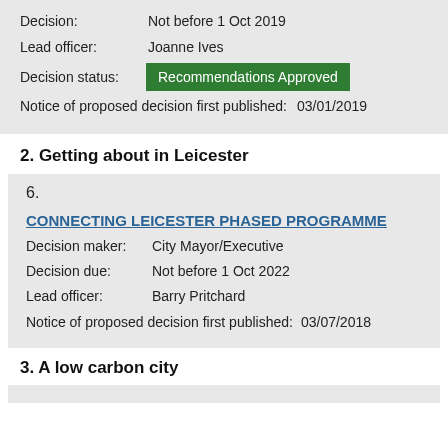Decision: Not before 1 Oct 2019
Lead officer: Joanne Ives
Decision status: Recommendations Approved
Notice of proposed decision first published: 03/01/2019
2. Getting about in Leicester
6.
CONNECTING LEICESTER PHASED PROGRAMME
Decision maker: City Mayor/Executive
Decision due: Not before 1 Oct 2022
Lead officer: Barry Pritchard
Notice of proposed decision first published: 03/07/2018
3. A low carbon city